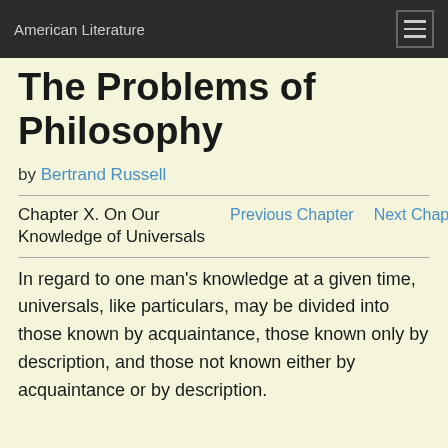American Literature
The Problems of Philosophy
by Bertrand Russell
Chapter X. On Our Knowledge of Universals
In regard to one man's knowledge at a given time, universals, like particulars, may be divided into those known by acquaintance, those known only by description, and those not known either by acquaintance or by description.